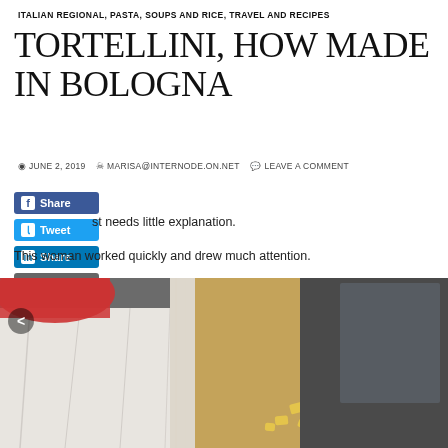ITALIAN REGIONAL, PASTA, SOUPS AND RICE, TRAVEL AND RECIPES
TORTELLINI, HOW MADE IN BOLOGNA
JUNE 2, 2019  MARISA@INTERNODE.ON.NET  LEAVE A COMMENT
st needs little explanation.
This woman worked quickly and drew much attention.
[Figure (photo): Photo of a woman making tortellini pasta on a white cloth-covered table, with fresh pasta pieces visible on a wooden board]